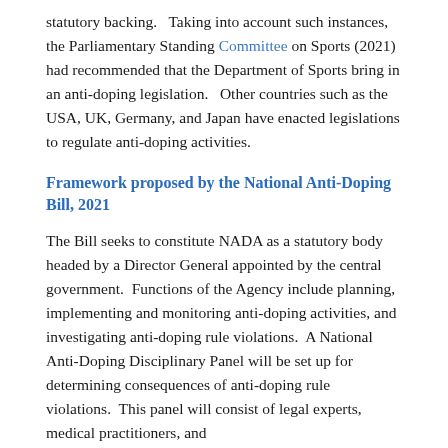statutory backing.   Taking into account such instances, the Parliamentary Standing Committee on Sports (2021) had recommended that the Department of Sports bring in an anti-doping legislation.   Other countries such as the USA, UK, Germany, and Japan have enacted legislations to regulate anti-doping activities.
Framework proposed by the National Anti-Doping Bill, 2021
The Bill seeks to constitute NADA as a statutory body headed by a Director General appointed by the central government.  Functions of the Agency include planning, implementing and monitoring anti-doping activities, and investigating anti-doping rule violations.  A National Anti-Doping Disciplinary Panel will be set up for determining consequences of anti-doping rule violations.  This panel will consist of legal experts, medical practitioners, and